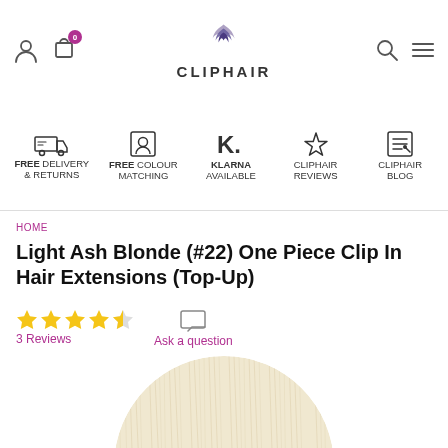CLIPHAIR
[Figure (infographic): Feature icons bar: FREE DELIVERY & RETURNS (truck icon), FREE COLOUR MATCHING (portrait icon), KLARNA AVAILABLE (K. logo), CLIPHAIR REVIEWS (star icon), CLIPHAIR BLOG (notes icon)]
HOME
Light Ash Blonde (#22) One Piece Clip In Hair Extensions (Top-Up)
3 Reviews   Ask a question
[Figure (photo): Circular cropped swatch of light ash blonde hair extensions showing texture and color]